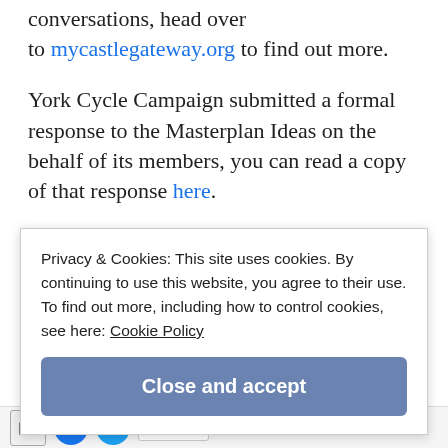conversations, head over to mycastlegateway.org to find out more.
York Cycle Campaign submitted a formal response to the Masterplan Ideas on the behalf of its members, you can read a copy of that response here.
The YouTube videos featured in this blog post were all
Privacy & Cookies: This site uses cookies. By continuing to use this website, you agree to their use.
To find out more, including how to control cookies, see here: Cookie Policy
Close and accept